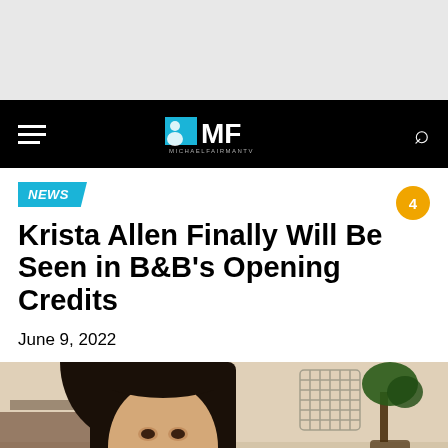[Figure (screenshot): Top gray advertisement/banner area]
MF MICHAELFAIRMANTV — navigation bar with hamburger menu and search icon
NEWS
Krista Allen Finally Will Be Seen in B&B's Opening Credits
June 9, 2022
[Figure (photo): Photo of a woman with long dark brown hair and bangs, smiling, seated indoors with a bonsai plant and grid wall decor in background]